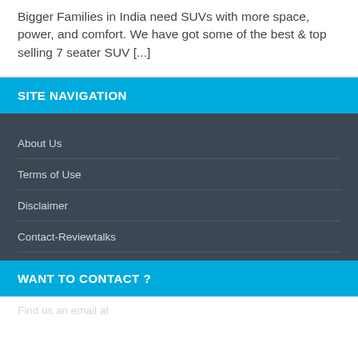Bigger Families in India need SUVs with more space, power, and comfort. We have got some of the best & top selling 7 seater SUV [...]
SITE NAVIGATION
About Us
Terms of Use
Disclaimer
Contact-Reviewtalks
WANT TO CONTACT ?
Find us an email at